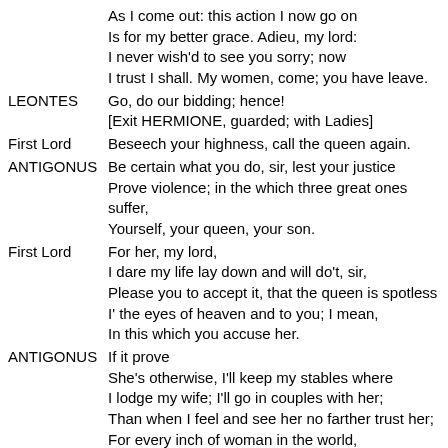As I come out: this action I now go on
Is for my better grace. Adieu, my lord:
I never wish'd to see you sorry; now
I trust I shall. My women, come; you have leave.
LEONTES  Go, do our bidding; hence!
[Exit HERMIONE, guarded; with Ladies]
First Lord  Beseech your highness, call the queen again.
ANTIGONUS  Be certain what you do, sir, lest your justice
Prove violence; in the which three great ones suffer,
Yourself, your queen, your son.
First Lord  For her, my lord,
I dare my life lay down and will do't, sir,
Please you to accept it, that the queen is spotless
I' the eyes of heaven and to you; I mean,
In this which you accuse her.
ANTIGONUS  If it prove
She's otherwise, I'll keep my stables where
I lodge my wife; I'll go in couples with her;
Than when I feel and see her no farther trust her;
For every inch of woman in the world,